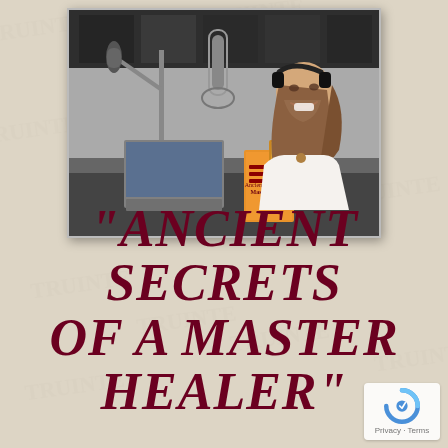[Figure (photo): A smiling man with long brown hair and a beard, wearing headphones and a white shirt, sitting in a recording studio with a microphone, laptop, and a book titled 'Ancient Secrets of a Master Healer' visible in the foreground.]
"ANCIENT SECRETS OF A MASTER HEALER"